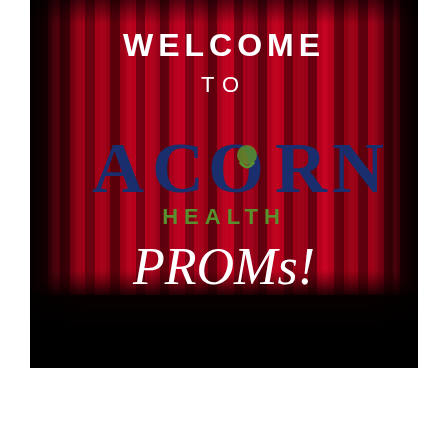[Figure (illustration): Red theater curtain background image with 'WELCOME TO ACORN HEALTH PROMs!' text overlaid. The curtain is deep crimson red with vertical folds and a dark bottom section. The Acorn Health logo is displayed prominently in the center with navy blue and green text.]